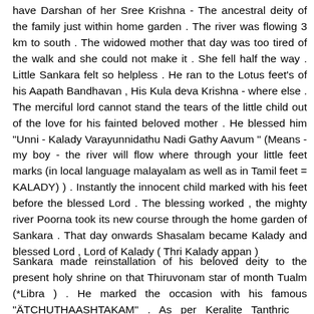have Darshan of her Sree Krishna - The ancestral deity of the family just within home garden . The river was flowing 3 km to south . The widowed mother that day was too tired of the walk and she could not make it . She fell half the way . Little Sankara felt so helpless . He ran to the Lotus feet's of his Aapath Bandhavan , His Kula deva Krishna - where else . The merciful lord cannot stand the tears of the little child out of the love for his fainted beloved mother . He blessed him "Unni - Kalady Varayunnidathu Nadi Gathy Aavum " (Means -my boy - the river will flow where through your little feet marks (in local language malayalam as well as in Tamil feet = KALADY) ) . Instantly the innocent child marked with his feet before the blessed Lord . The blessing worked , the mighty river Poorna took its new course through the home garden of Sankara . That day onwards Shasalam became Kalady and blessed Lord , Lord of Kalady ( Thri Kalady appan )
Sankara made reinstallation of his beloved deity to the present holy shrine on that Thiruvonam star of month Tualm (*Libra ) . He marked the occasion with his famous "ÄTCHUTHAASHTAKAM" . As per Keralite Tanthric